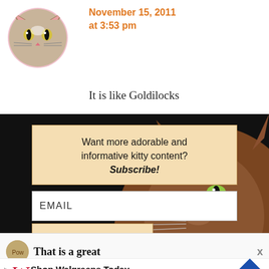[Figure (screenshot): Cat avatar in pink circle at top left of page]
November 15, 2011 at 3:53 pm
It is like Goldilocks
[Figure (infographic): Subscribe popup modal with dark overlay background over cat photo. Contains text: Want more adorable and informative kitty content? Subscribe! with email input field and Submit button. An X close button is visible at bottom left.]
Want more adorable and informative kitty content? Subscribe!
EMAIL
Submit
x
That is a great
Shop Walgreens Today Walgreens Photo